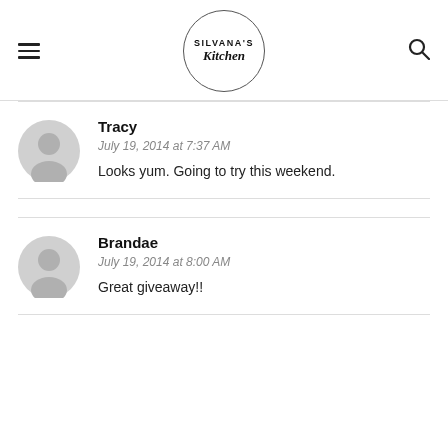[Figure (logo): Silvana's Kitchen logo in a circle]
Tracy
July 19, 2014 at 7:37 AM
Looks yum. Going to try this weekend.
Brandae
July 19, 2014 at 8:00 AM
Great giveaway!!